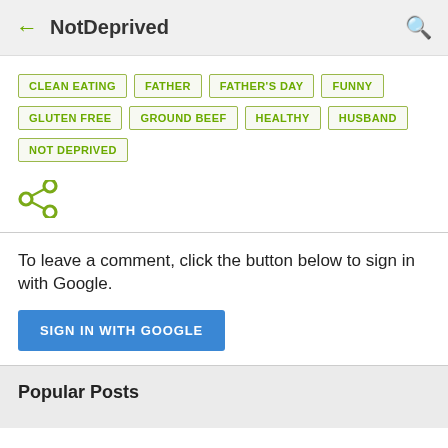NotDeprived
CLEAN EATING
FATHER
FATHER'S DAY
FUNNY
GLUTEN FREE
GROUND BEEF
HEALTHY
HUSBAND
NOT DEPRIVED
[Figure (infographic): Share icon (three connected circles network shape) in olive/green color]
To leave a comment, click the button below to sign in with Google.
SIGN IN WITH GOOGLE
Popular Posts